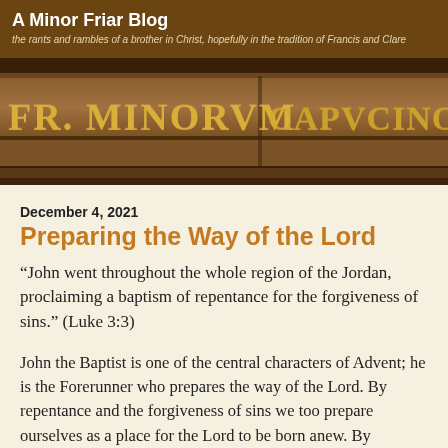A Minor Friar Blog
the rants and rambles of a brother in Christ, hopefully in the tradition of Francis and Clare
[Figure (photo): Photograph of carved stone or wooden architectural lettering in gold/brown tones reading 'FR. MINORVM' on the left and 'CAPVCINORVM' on the right, in a Franciscan church or building.]
December 4, 2021
Preparing the Way of the Lord
“John went throughout the whole region of the Jordan, proclaiming a baptism of repentance for the forgiveness of sins.” (Luke 3:3)
John the Baptist is one of the central characters of Advent; he is the Forerunner who prepares the way of the Lord. By repentance and the forgiveness of sins we too prepare ourselves as a place for the Lord to be born anew. By repentance, because when we let go of sin and attachment we make room in our minds and hearts, preparing a space